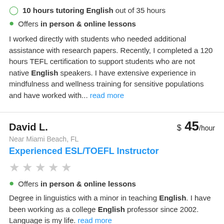10 hours tutoring English out of 35 hours
Offers in person & online lessons
I worked directly with students who needed additional assistance with research papers. Recently, I completed a 120 hours TEFL certification to support students who are not native English speakers. I have extensive experience in mindfulness and wellness training for sensitive populations and have worked with... read more
David L. $ 45/hour
Near Miami Beach, FL
Experienced ESL/TOEFL Instructor
Offers in person & online lessons
Degree in linguistics with a minor in teaching English. I have been working as a college English professor since 2002. Language is my life. read more